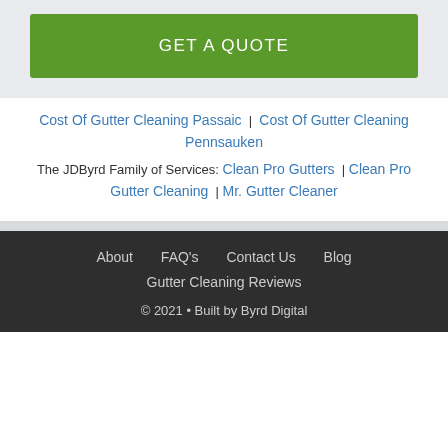GET A QUOTE
Cost Of Gutter Cleaning Passaic | Cost Of Gutter Cleaning Pennsauken
The JDByrd Family of Services: Clean Pro Gutters | Clean Pro Gutter Cleaning | Mr. Gutter Cleaner
About  FAQ's  Contact Us  Blog
Gutter Cleaning Reviews
© 2021 • Built by Byrd Digital